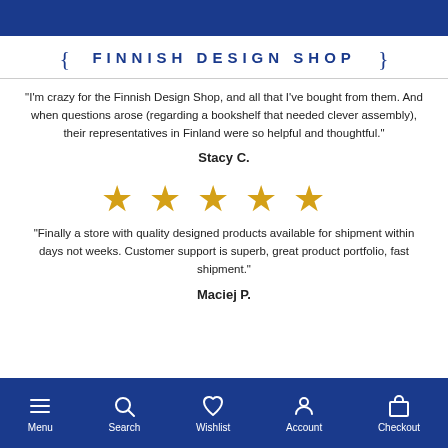[Figure (logo): Finnish Design Shop logo with curly braces and blue text]
"I'm crazy for the Finnish Design Shop, and all that I've bought from them. And when questions arose (regarding a bookshelf that needed clever assembly), their representatives in Finland were so helpful and thoughtful."
Stacy C.
[Figure (other): Five gold/yellow star rating]
"Finally a store with quality designed products available for shipment within days not weeks. Customer support is superb, great product portfolio, fast shipment."
Maciej P.
Menu  Search  Wishlist  Account  Checkout